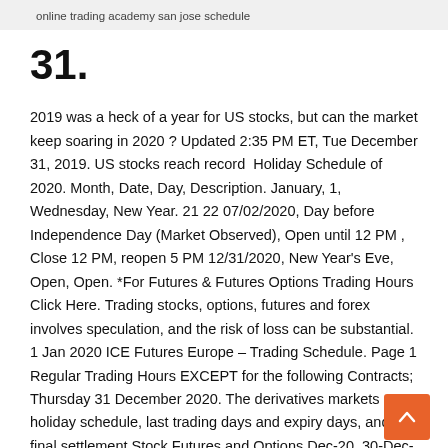online trading academy san jose schedule
31.
2019 was a heck of a year for US stocks, but can the market keep soaring in 2020 ? Updated 2:35 PM ET, Tue December 31, 2019. US stocks reach record  Holiday Schedule of 2020. Month, Date, Day, Description. January, 1, Wednesday, New Year. 21 22 07/02/2020, Day before Independence Day (Market Observed), Open until 12 PM , Close 12 PM, reopen 5 PM 12/31/2020, New Year's Eve, Open, Open. *For Futures & Futures Options Trading Hours Click Here. Trading stocks, options, futures and forex involves speculation, and the risk of loss can be substantial. 1 Jan 2020 ICE Futures Europe – Trading Schedule. Page 1 Regular Trading Hours EXCEPT for the following Contracts; Thursday 31 December 2020. The derivatives markets holiday schedule, last trading days and expiry days, and final settlement Stock Futures and Options Dec-20, 30-Dec-20, 31-Dec-20
Stock Market Trading Hours, Stock Market Hours and